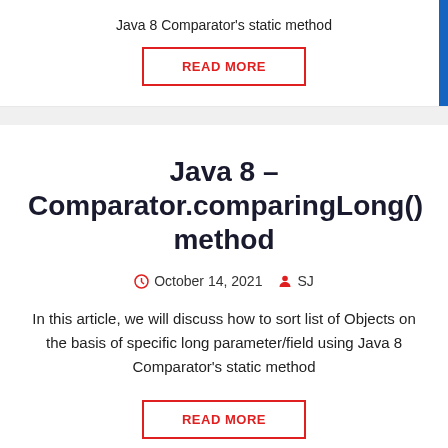Java 8 Comparator's static method
READ MORE
Java 8 – Comparator.comparingLong() method
October 14, 2021  SJ
In this article, we will discuss how to sort list of Objects on the basis of specific long parameter/field using Java 8 Comparator's static method
READ MORE